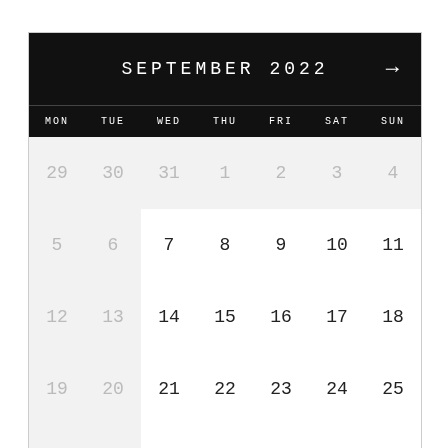[Figure (other): September 2022 calendar with black header, day-of-week row, and a 5-week grid. Mon-Tue columns are grayed out (dimmed). Days 29-31 (prior month) and 1-4 (first week) are gray. Days 5-6 and 19-20, 26-27 are gray. September days 7-30 are dark. Oct 1-2 in last row are gray. Arrow pointing right in header.]